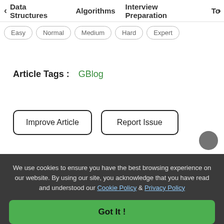< Data Structures   Algorithms   Interview Preparation   To>
Easy
Normal
Medium
Hard
Expert
Article Tags :  GBlog
Improve Article
Report Issue
We use cookies to ensure you have the best browsing experience on our website. By using our site, you acknowledge that you have read and understood our Cookie Policy & Privacy Policy
Got It !